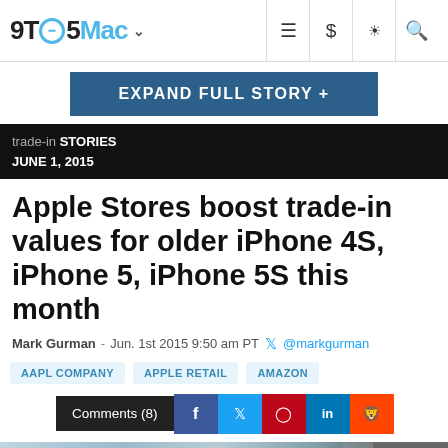9TO5Mac
EXPAND FULL STORY +
trade-in STORIES
JUNE 1, 2015
Apple Stores boost trade-in values for older iPhone 4S, iPhone 5, iPhone 5S this month
Mark Gurman - Jun. 1st 2015 9:50 am PT @markgurman
AAPL COMPANY   APPLE RETAIL   AMAZON
Comments (8)
[Figure (photo): Interior of Apple Store with customers and bright lighting, a person in the background]